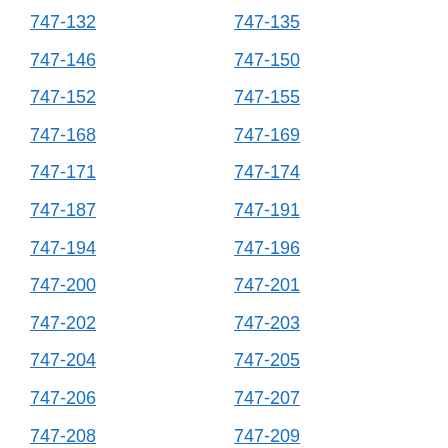747-132
747-135
747-146
747-150
747-152
747-155
747-168
747-169
747-171
747-174
747-187
747-191
747-194
747-196
747-200
747-201
747-202
747-203
747-204
747-205
747-206
747-207
747-208
747-209
747-210
747-211
747-212
747-213